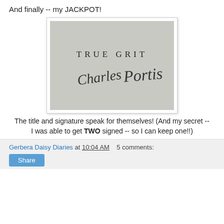And finally -- my JACKPOT!
[Figure (photo): A signed copy of 'True Grit' by Charles Portis, showing the title 'TRUE GRIT' printed in small caps and a handwritten signature 'Charles Portis' below it on a light gray page.]
The title and signature speak for themselves! (And my secret -- I was able to get TWO signed -- so I can keep one!!)
Gerbera Daisy Diaries at 10:04 AM   5 comments:   Share